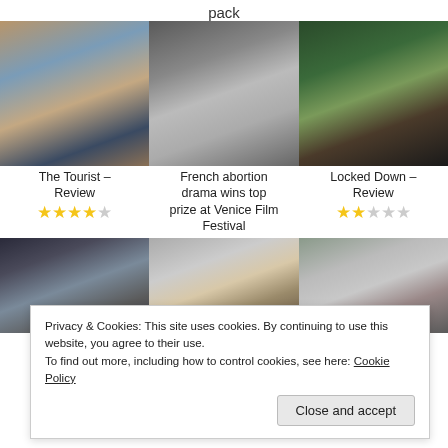pack
[Figure (photo): Man in t-shirt with heart graphic standing outdoors in desert setting]
[Figure (photo): Woman in crowded indoor setting, dark hair]
[Figure (photo): Two people talking in lush green outdoor setting]
The Tourist – Review
French abortion drama wins top prize at Venice Film Festival
Locked Down – Review
[Figure (photo): Group of people in indoor setting]
[Figure (photo): Man with glasses and curly grey hair]
[Figure (photo): Man smiling outdoors in front of building]
Privacy & Cookies: This site uses cookies. By continuing to use this website, you agree to their use. To find out more, including how to control cookies, see here: Cookie Policy
Close and accept
Review
boosts Oscar hopes
Spanish-language